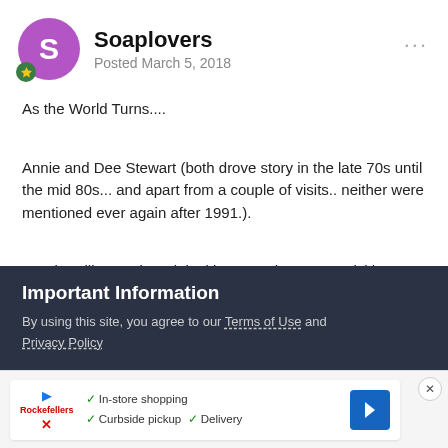Soaplovers — Posted March 5, 2018
As the World Turns....
Annie and Dee Stewart (both drove story in the late 70s until the mid 80s... and apart from a couple of visits.. neither were mentioned ever again after 1991.).
Carol Stallings... the original ingenue that wasn't sickly sweet.. she was the good girl/ingenue from the 70s until the early 80s.. not being seen or real mentioned since 1982/1983 yet was a very
Important Information
By using this site, you agree to our Terms of Use and Privacy Policy
[Figure (infographic): Advertisement banner with play and X icons, brand logo, checklist of in-store shopping, curbside pickup, delivery, and a blue diamond navigation arrow. Close X button.]